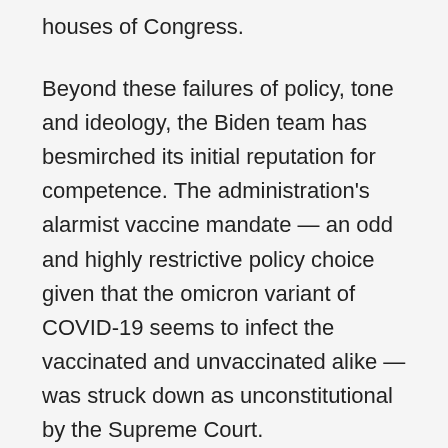houses of Congress.
Beyond these failures of policy, tone and ideology, the Biden team has besmirched its initial reputation for competence. The administration's alarmist vaccine mandate — an odd and highly restrictive policy choice given that the omicron variant of COVID-19 seems to infect the vaccinated and unvaccinated alike — was struck down as unconstitutional by the Supreme Court.
The rise from seemingly nowhere of the beast of endemic inflation — the December inflation rate reached an almost 40-year high of 7 percent year on year — was badly missed and then downplayed by the White House. This has emerged in recent polling as the country's primary concern, a problem almost entirely of Biden's own making, which alone (if unchecked) has the